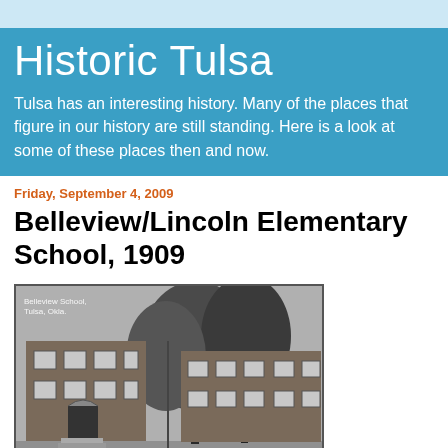Historic Tulsa
Tulsa has an interesting history. Many of the places that figure in our history are still standing. Here is a look at some of these places then and now.
Friday, September 4, 2009
Belleview/Lincoln Elementary School, 1909
[Figure (photo): Black and white historical photograph of Belleview School, Tulsa, Okla. Shows a two-story brick school building with trees in front. Text in upper left reads 'Belleview School, Tulsa, Okla.']